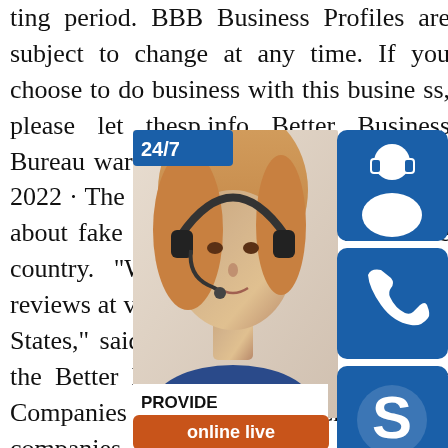ting period. BBB Business Profiles are subject to change at any time. If you choose to do business with this business, please let thesp.info Better Business Bureau warns of fake COVID-19 Jan 19, 2022 · The Better Business Bureau has issued a warning about fake COVID-19 businesses popping up across the country. "We've seen an uptick in complaints and reviews at various COVID-19 test sites around the United States," said Sandra Guile, director of communications of the Better Business Bureau. 7 Best Credit Repair Companies of Feb 1, 2022 · Feb 1, 2022 · Credit repair companies can make the process easier by doing the heavy lifting for you — obtaining your reports, finding inaccuracies and disputing any mistakes directly with creditors and thesp.info 888-884-2024 / 8888 842024 - 800notesNov 22, 2013 · As an enforcement agency, the Better Business Bureau is about as useful as Ste
[Figure (infographic): Customer service advertisement overlay showing: a woman with headset (customer service agent photo), a 24/7 label badge in blue, three dark blue icon boxes on the right showing a headset/person icon, a phone icon, and a Skype-style icon, a white box with 'PROVIDE - Empowering Customers' text, and an orange 'online live' button at the bottom.]